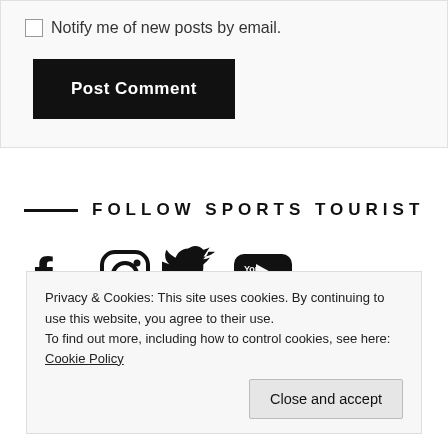Notify me of new posts by email.
Post Comment
FOLLOW SPORTS TOURIST
[Figure (illustration): Social media icons: Facebook, Instagram, Twitter, YouTube]
Privacy & Cookies: This site uses cookies. By continuing to use this website, you agree to their use. To find out more, including how to control cookies, see here: Cookie Policy
Close and accept